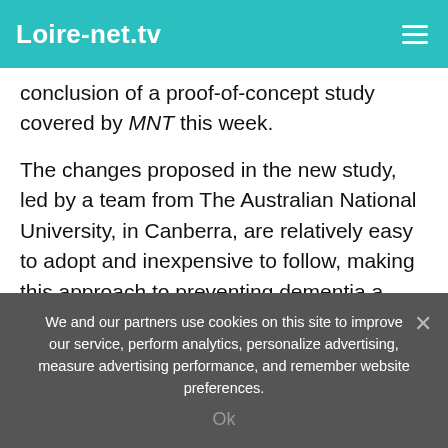Loire-net.tv
conclusion of a proof-of-concept study covered by MNT this week.
The changes proposed in the new study, led by a team from The Australian National University, in Canberra, are relatively easy to adopt and inexpensive to follow, making this approach to preventing dementia a promising option for many older people.
“With the right intervention, people experiencing cognitive decline may retain sufficient neuroplasticity for their brain to ‘bounce back’ from decline,” says Mitchell McMaster, the
We and our partners use cookies on this site to improve our service, perform analytics, personalize advertising, measure advertising performance, and remember website preferences.
Ok